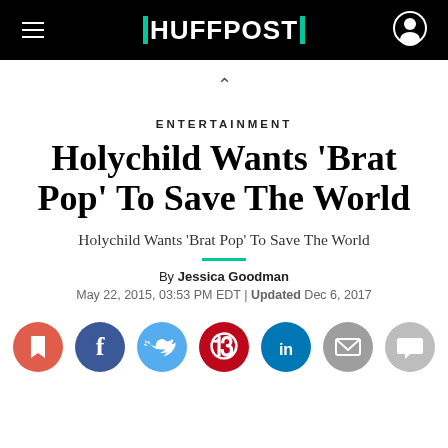HUFFPOST
ENTERTAINMENT
Holychild Wants 'Brat Pop' To Save The World
Holychild Wants 'Brat Pop' To Save The World
By Jessica Goodman
May 22, 2015, 03:53 PM EDT | Updated Dec 6, 2017
[Figure (infographic): Row of social sharing icons: bookmark (red), Facebook (dark blue), Twitter (light blue), Pinterest (dark red), LinkedIn (teal), email (gray), comment (light gray)]